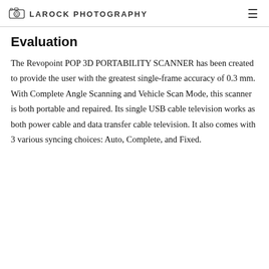LAROCK PHOTOGRAPHY
Evaluation
The Revopoint POP 3D PORTABILITY SCANNER has been created to provide the user with the greatest single-frame accuracy of 0.3 mm. With Complete Angle Scanning and Vehicle Scan Mode, this scanner is both portable and repaired. Its single USB cable television works as both power cable and data transfer cable television. It also comes with 3 various syncing choices: Auto, Complete, and Fixed.